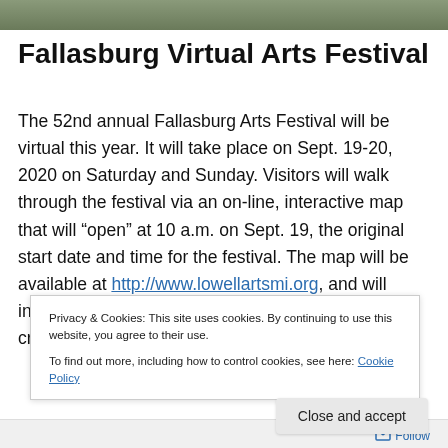[Figure (photo): Partial photo strip at top of page showing outdoor scene]
Fallasburg Virtual Arts Festival
The 52nd annual Fallasburg Arts Festival will be virtual this year. It will take place on Sept. 19-20, 2020 on Saturday and Sunday. Visitors will walk through the festival via an on-line, interactive map that will “open” at 10 a.m. on Sept. 19, the original start date and time for the festival. The map will be available at http://www.lowellartsmi.org, and will include links to explore artwork, music, children’s creations, craft
Privacy & Cookies: This site uses cookies. By continuing to use this website, you agree to their use.
To find out more, including how to control cookies, see here: Cookie Policy